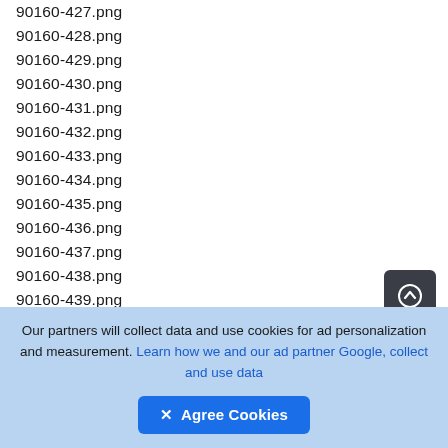90160-427.png
90160-428.png
90160-429.png
90160-430.png
90160-431.png
90160-432.png
90160-433.png
90160-434.png
90160-435.png
90160-436.png
90160-437.png
90160-438.png
90160-439.png
90160-440.png
90160-441.png
90160-442.png (partial)
Our partners will collect data and use cookies for ad personalization and measurement. Learn how we and our ad partner Google, collect and use data
✕ Agree Cookies